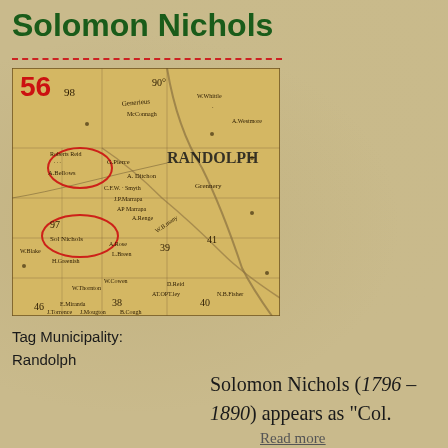Solomon Nichols
[Figure (map): Historical map excerpt showing Randolph municipality with lot numbers including 56, 97, 98, 96, 38, 39, 40, and various landowner names. Two parcels are circled in red — one labeled 'A. Bellows' and another labeled '97 Sol Nichols'.]
Tag Municipality:
Randolph
Solomon Nichols (1796 – 1890) appears as "Col.
Read more